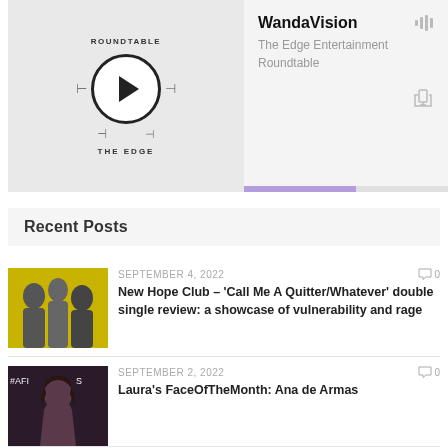[Figure (screenshot): Podcast player widget showing 'WandaVision' episode from The Edge Entertainment Roundtable, with play button, sound wave icon, share icon, and purple progress bar]
Recent Posts
[Figure (photo): Photo of three young men (New Hope Club) against a yellow background]
SEPTEMBER 4, 2022
0
New Hope Club – 'Call Me A Quitter/Whatever' double single review: a showcase of vulnerability and rage
[Figure (photo): Photo of Ana de Armas at an event with #AFI text visible]
SEPTEMBER 2, 2022
0
Laura's FaceOfTheMonth: Ana de Armas